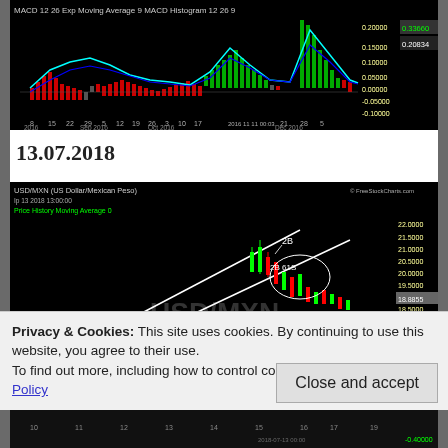[Figure (continuous-plot): MACD 12 26 Exp Moving Average 9 MACD Histogram 12 26 9 chart for a forex pair, showing oscillating lines and histogram bars. Date range: Aug–Dec 2016. Values on right axis range from -0.10000 to 0.20000.]
13.07.2018
[Figure (continuous-plot): USD/MXN (US Dollar/Mexican Peso) price history chart with Moving Average 0 overlay, dated Jul 13 2018 13:00:00. Shows candlestick chart with diagonal trend channel lines drawn. Price levels annotated: 2B and 2B 61S. Right axis ranges from ~14.5000 to 22.0000. Current price highlighted around 18.8855.]
Privacy & Cookies: This site uses cookies. By continuing to use this website, you agree to their use.
To find out more, including how to control cookies, see here: Cookie Policy
Close and accept